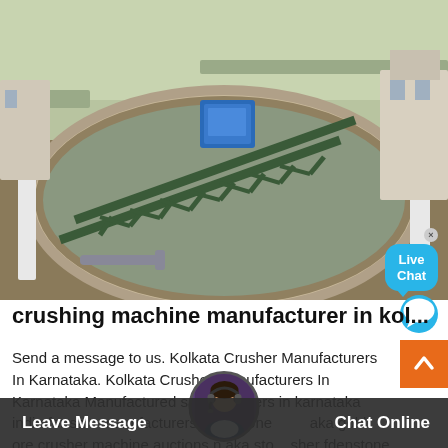[Figure (photo): Aerial view of a large industrial circular thickener/clarifier tank with a metal truss bridge arm spanning across it, a blue control box in the center, surrounded by industrial buildings and infrastructure.]
crushing machine manufacturer in kol...
Send a message to us. Kolkata Crusher Manufacturers In Karnataka. Kolkata Crusher Manufacturers In Karnataka Manufactured sand crushers in karnataka india for sale manufacturers from stone aka gold ore crusher machine auctions n aka sto sher fdenstone crushing
Leave Message   Chat Online